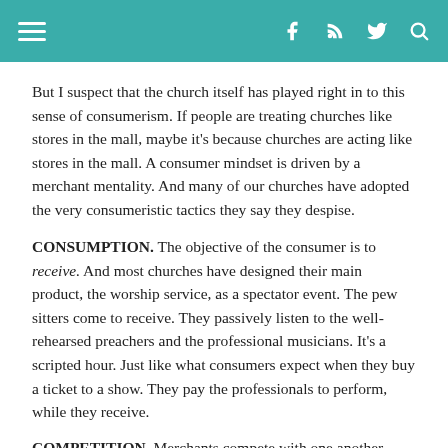Navigation header with hamburger menu and social icons (Facebook, RSS, Twitter, Search)
But I suspect that the church itself has played right in to this sense of consumerism. If people are treating churches like stores in the mall, maybe it's because churches are acting like stores in the mall. A consumer mindset is driven by a merchant mentality. And many of our churches have adopted the very consumeristic tactics they say they despise.
CONSUMPTION. The objective of the consumer is to receive. And most churches have designed their main product, the worship service, as a spectator event. The pew sitters come to receive. They passively listen to the well-rehearsed preachers and the professional musicians. It's a scripted hour. Just like what consumers expect when they buy a ticket to a show. They pay the professionals to perform, while they receive.
COMPETITION. Merchants compete with one another. They boast about being the best in town. They don't do any favour for the community, they just want to keep attracting customers.